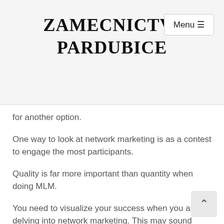ZAMECNICTVI PARDUBICE
for another option.
One way to look at network marketing is as a contest to engage the most participants.
Quality is far more important than quantity when doing MLM.
You need to visualize your success when you are delving into network marketing. This may sound cliche, though in this kind of work, looking forward is crucial to helping your